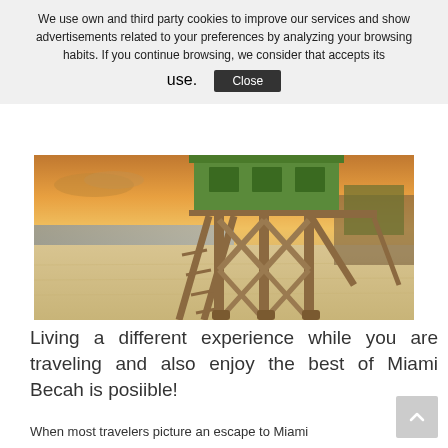We use own and third party cookies to improve our services and show advertisements related to your preferences by analyzing your browsing habits. If you continue browsing, we consider that accepts its use.  Close
[Figure (photo): Lifeguard tower on Miami Beach at sunset, green wooden structure with stairs on sandy beach, warm golden sky in background]
Living a different experience while you are traveling and also enjoy the best of Miami Becah is posiible!
When most travelers picture an escape to Miami